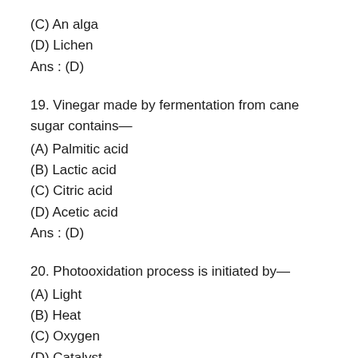(C) An alga
(D) Lichen
Ans : (D)
19. Vinegar made by fermentation from cane sugar contains—
(A) Palmitic acid
(B) Lactic acid
(C) Citric acid
(D) Acetic acid
Ans : (D)
20. Photooxidation process is initiated by—
(A) Light
(B) Heat
(C) Oxygen
(D) Catalyst
Ans : (A)